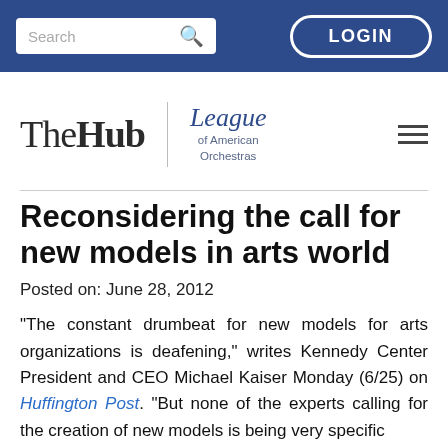Search | LOGIN
[Figure (logo): TheHub | League of American Orchestras logo with hamburger menu]
Reconsidering the call for new models in arts world
Posted on: June 28, 2012
“The constant drumbeat for new models for arts organizations is deafening,” writes Kennedy Center President and CEO Michael Kaiser Monday (6/25) on Huffington Post. “But none of the experts calling for the creation of new models is being very specific